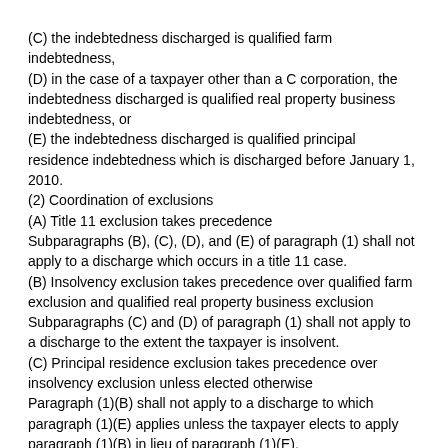(C) the indebtedness discharged is qualified farm indebtedness,
(D) in the case of a taxpayer other than a C corporation, the indebtedness discharged is qualified real property business indebtedness, or
(E) the indebtedness discharged is qualified principal residence indebtedness which is discharged before January 1, 2010.
(2) Coordination of exclusions
(A) Title 11 exclusion takes precedence
Subparagraphs (B), (C), (D), and (E) of paragraph (1) shall not apply to a discharge which occurs in a title 11 case.
(B) Insolvency exclusion takes precedence over qualified farm exclusion and qualified real property business exclusion
Subparagraphs (C) and (D) of paragraph (1) shall not apply to a discharge to the extent the taxpayer is insolvent.
(C) Principal residence exclusion takes precedence over insolvency exclusion unless elected otherwise
Paragraph (1)(B) shall not apply to a discharge to which paragraph (1)(E) applies unless the taxpayer elects to apply paragraph (1)(B) in lieu of paragraph (1)(E).
(3) Insolvency exclusion limited to amount of insolvency